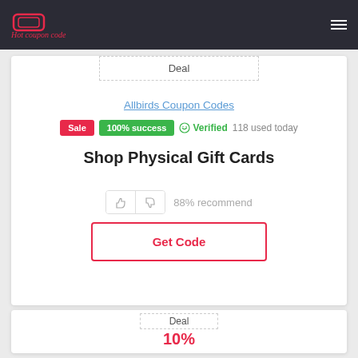Hot coupon code
Deal
Allbirds Coupon Codes
Sale  100% success  ☺ Verified  118 used today
Shop Physical Gift Cards
88% recommend
Get Code
10%